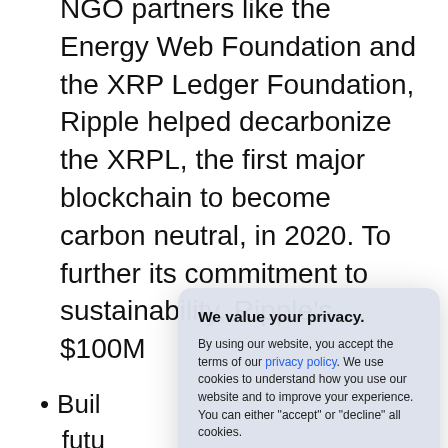NGO partners like the Energy Web Foundation and the XRP Ledger Foundation, Ripple helped decarbonize the XRPL, the first major blockchain to become carbon neutral, in 2020. To further its commitment to sustainability, Ripple's $100M
Building future impact methods
Investing tech utilizing tech exponential value for both buyers and suppliers.
Supporting new functionality and developer
[Figure (screenshot): Cookie consent modal dialog with title 'We value your privacy.', body text explaining privacy policy and cookie usage, and two buttons: 'Accept' (blue filled) and 'Decline' (outlined).]